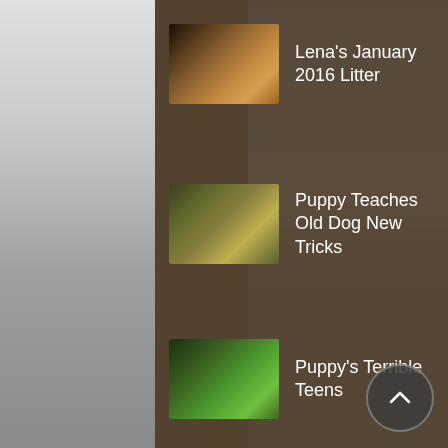Lena's January 2016 Litter
Puppy Teaches Old Dog New Tricks
Puppy's Terrible Teens
Proper Socialization